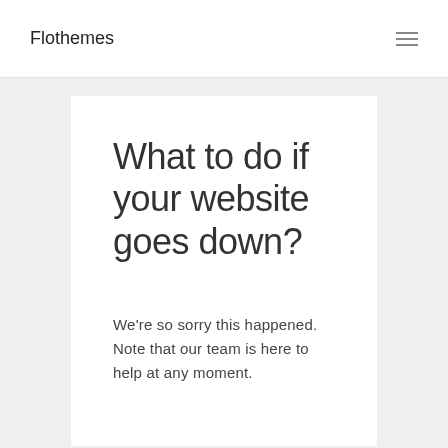Flothemes
What to do if your website goes down?
We're so sorry this happened. Note that our team is here to help at any moment.